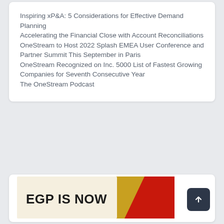Inspiring xP&A: 5 Considerations for Effective Demand Planning
Accelerating the Financial Close with Account Reconciliations
OneStream to Host 2022 Splash EMEA User Conference and Partner Summit This September in Paris
OneStream Recognized on Inc. 5000 List of Fastest Growing Companies for Seventh Consecutive Year
The OneStream Podcast
[Figure (infographic): Banner image showing EGP IS NOW text with a red and yellow swoosh graphic element on a light background]